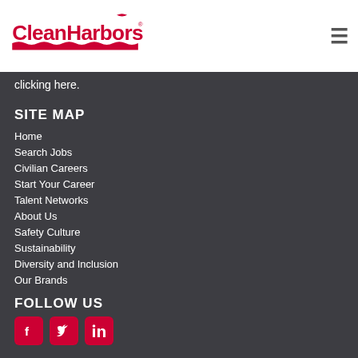[Figure (logo): Clean Harbors logo in red with wave/cloud design and bird silhouette]
clicking here.
SITE MAP
Home
Search Jobs
Civilian Careers
Start Your Career
Talent Networks
About Us
Safety Culture
Sustainability
Diversity and Inclusion
Our Brands
FOLLOW US
[Figure (illustration): Social media icons: Facebook, Twitter, LinkedIn in red rounded squares]